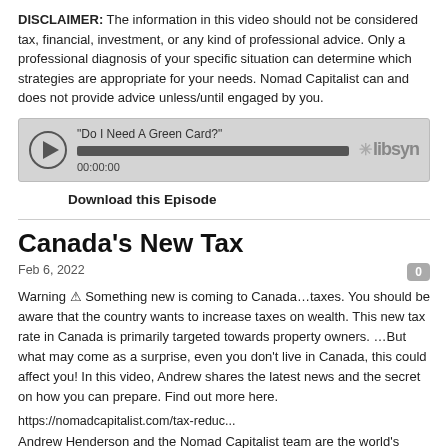DISCLAIMER: The information in this video should not be considered tax, financial, investment, or any kind of professional advice. Only a professional diagnosis of your specific situation can determine which strategies are appropriate for your needs. Nomad Capitalist can and does not provide advice unless/until engaged by you.
[Figure (other): Audio player widget showing podcast episode titled 'Do I Need A Green Card?' with play button, progress bar, timestamp 00:00:00, and libsyn logo]
Download this Episode
Canada's New Tax
Feb 6, 2022
Warning ⚠ Something new is coming to Canada…taxes. You should be aware that the country wants to increase taxes on wealth. This new tax rate in Canada is primarily targeted towards property owners. …But what may come as a surprise, even you don't live in Canada, this could affect you! In this video, Andrew shares the latest news and the secret on how you can prepare. Find out more here.
https://nomadcapitalist.com/tax-reduc...
Andrew Henderson and the Nomad Capitalist team are the world's most